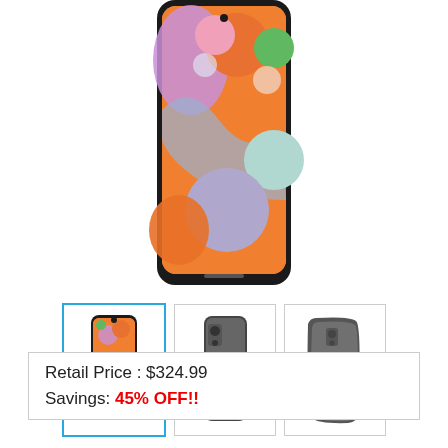[Figure (photo): Samsung Galaxy A11 smartphone front view showing colorful 3D bubble wallpaper on display, black frame]
[Figure (photo): Three thumbnail images of Samsung Galaxy A11: front view (selected with blue border), back view, and angled back view]
Retail Price : $324.99
Savings: 45% OFF!!